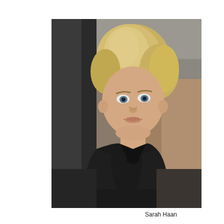[Figure (photo): Professional headshot of Sarah Haan, a woman with short blonde hair wearing a black blazer, photographed indoors against a blurred background with a dark pillar and warm-toned wall.]
Sarah Haan